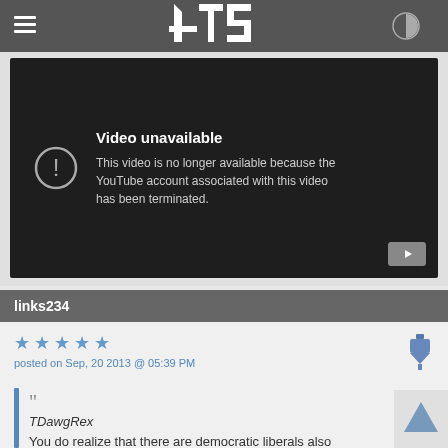ATS AboveTopSecret
[Figure (screenshot): Embedded video player showing 'Video unavailable' error: 'This video is no longer available because the YouTube account associated with this video has been terminated.']
links234
posted on Sep, 20 2013 @ 05:39 PM
TDawgRex
You do realize that there are democratic liberals also